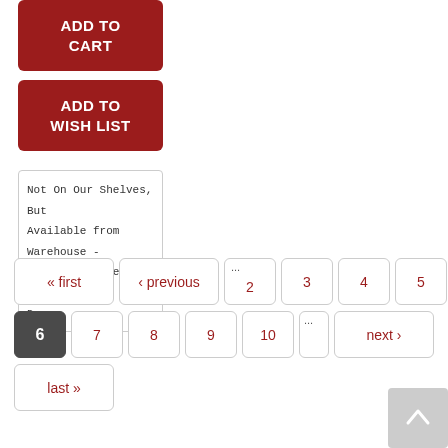ADD TO CART
ADD TO WISH LIST
Not On Our Shelves, But Available from Warehouse - Usually Delivers in 3-14 Days
« first
‹ previous
...
2
3
4
5
6
7
8
9
10
...
next ›
last »